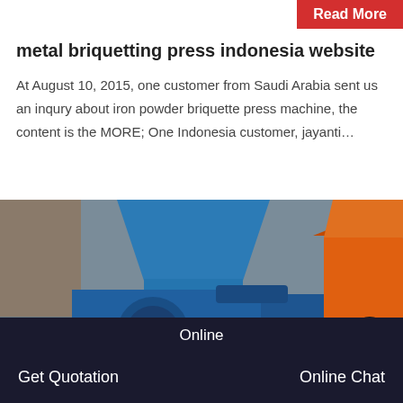Read More
metal briquetting press indonesia website
At August 10, 2015, one customer from Saudi Arabia sent us an inqury about iron powder briquette press machine, the content is the MORE; One Indonesia customer, jayanti…
[Figure (photo): Industrial metal briquetting press machine in blue and orange colors, showing hopper and press mechanism.]
Online | Get Quotation | Online Chat